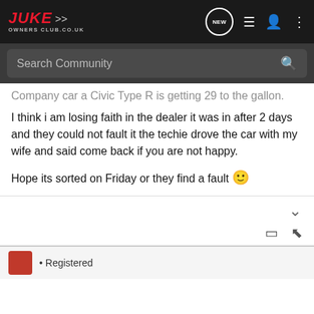Juke Owners Club - Navigation bar with logo, search, and icons
Company car a Civic Type R is getting 29 to the gallon.
I think i am losing faith in the dealer it was in after 2 days and they could not fault it the techie drove the car with my wife and said come back if you are not happy.
Hope its sorted on Friday or they find a fault 🙂
• Registered